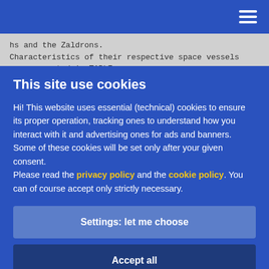hs and the Zaldrons.
Characteristics of their respective space vessels
are presented in TABLE
III. The destroyer is the only type of Knolles shi
This site use cookies
Hi! This website uses essential (technical) cookies to ensure its proper operation, tracking ones to understand how you interact with it and advertising ones for ads and banners.
Some of these cookies will be set only after your given consent.
Please read the privacy policy and the cookie policy. You can of course accept only strictly necessary.
Settings: let me choose
Accept all